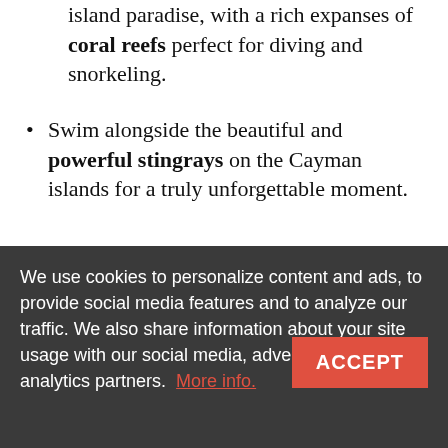island paradise, with a rich expanses of coral reefs perfect for diving and snorkeling.
Swim alongside the beautiful and powerful stingrays on the Cayman islands for a truly unforgettable moment.
Enjoy a fine French meal infused with [obscured by cookie banner] tropical views on St. Bart's.
We use cookies to personalize content and ads, to provide social media features and to analyze our traffic. We also share information about your site usage with our social media, advertising and analytics partners. More info.
Atlantis Paradise Island with pools galore and activities that are sure to have everyone smiling.